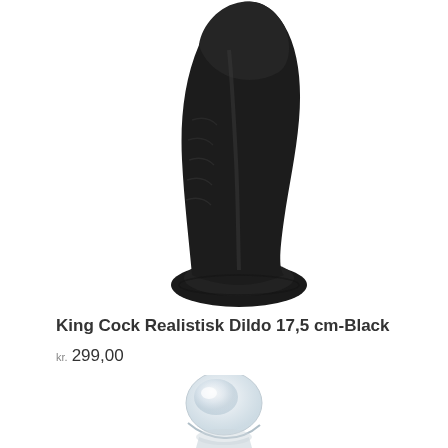[Figure (photo): A black realistic dildo with suction cup base, curved shape, photographed on white background. The top of the item extends beyond the top edge of the image.]
King Cock Realistisk Dildo 17,5 cm-Black
kr. 299,00
[Figure (photo): A clear/transparent glass or crystal realistic dildo head, photographed on white background, only the top portion visible at the bottom of the page.]